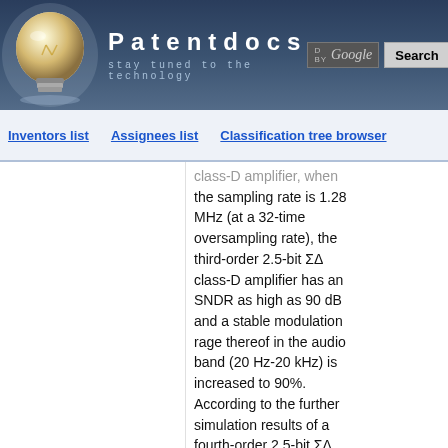Patentdocs — stay tuned to the technology
Inventors list   Assignees list   Classification tree browser
class-D amplifier, when the sampling rate is 1.28 MHz (at a 32-time oversampling rate), the third-order 2.5-bit ΣΔ class-D amplifier has an SNDR as high as 90 dB and a stable modulation rage thereof in the audio band (20 Hz-20 kHz) is increased to 90%. According to the further simulation results of a fourth-order 2.5-bit ΣΔ class-D amplifier, when the sampling rate is 1.28 MHz, the fourth-order 2.5-bit ΣΔ class-D amplifier has an SNDR as high as 110 dB and a stable modulation rage thereof in the audio band (20 Hz-20 kHz) is